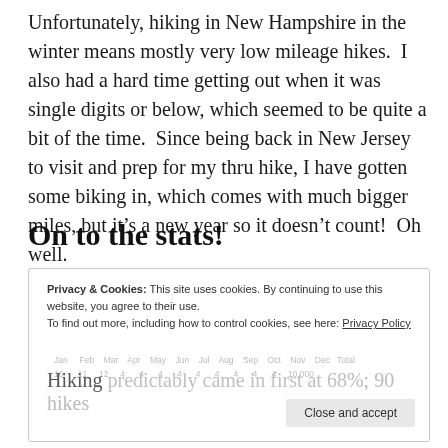Unfortunately, hiking in New Hampshire in the winter means mostly very low mileage hikes.  I also had a hard time getting out when it was single digits or below, which seemed to be quite a bit of the time.  Since being back in New Jersey to visit and prep for my thru hike, I have gotten some biking in, which comes with much bigger miles, but it’s a new year so it doesn’t count!  Oh well.
On to the stats!
Privacy & Cookies: This site uses cookies. By continuing to use this website, you agree to their use.
To find out more, including how to control cookies, see here: Privacy Policy
Hiking predictably came in first at 68%; 90 hikes totaling 608.4 miles